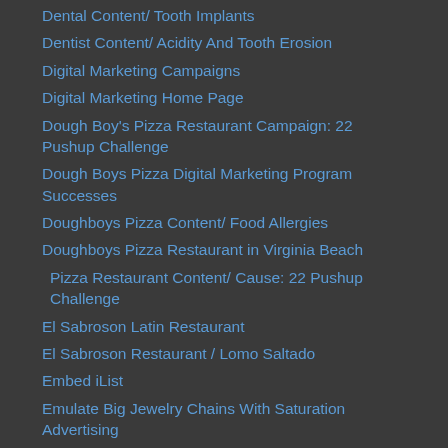Dental Content/ Tooth Implants
Dentist Content/ Acidity And Tooth Erosion
Digital Marketing Campaigns
Digital Marketing Home Page
Dough Boy's Pizza Restaurant Campaign: 22 Pushup Challenge
Dough Boys Pizza Digital Marketing Program Successes
Doughboys Pizza Content/ Food Allergies
Doughboys Pizza Restaurant in Virginia Beach
Pizza Restaurant Content/ Cause: 22 Pushup Challenge
El Sabroson Latin Restaurant
El Sabroson Restaurant / Lomo Saltado
Embed iList
Emulate Big Jewelry Chains With Saturation Advertising
Forest Dental/ Keyword Placement And Traffic Performance
Golf Apparel Marketing
Golf Content Sample: Best High Performance Features Of Golf Balls